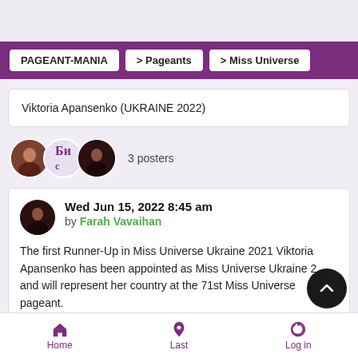PAGEANT-MANIA > Pageants > Miss Universe
Viktoria Apansenko (UKRAINE 2022)
3 posters
Wed Jun 15, 2022 8:45 am by Farah Vavaihan
The first Runner-Up in Miss Universe Ukraine 2021 Viktoria Apansenko has been appointed as Miss Universe Ukraine 2022 and will represent her country at the 71st Miss Universe pageant.
Home Last Log in